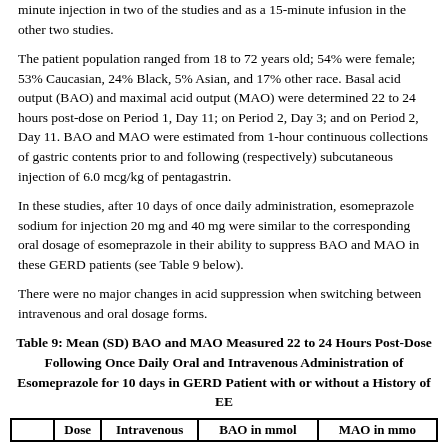minute injection in two of the studies and as a 15-minute infusion in the other two studies.
The patient population ranged from 18 to 72 years old; 54% were female; 53% Caucasian, 24% Black, 5% Asian, and 17% other race. Basal acid output (BAO) and maximal acid output (MAO) were determined 22 to 24 hours post-dose on Period 1, Day 11; on Period 2, Day 3; and on Period 2, Day 11. BAO and MAO were estimated from 1-hour continuous collections of gastric contents prior to and following (respectively) subcutaneous injection of 6.0 mcg/kg of pentagastrin.
In these studies, after 10 days of once daily administration, esomeprazole sodium for injection 20 mg and 40 mg were similar to the corresponding oral dosage of esomeprazole in their ability to suppress BAO and MAO in these GERD patients (see Table 9 below).
There were no major changes in acid suppression when switching between intravenous and oral dosage forms.
Table 9: Mean (SD) BAO and MAO Measured 22 to 24 Hours Post-Dose Following Once Daily Oral and Intravenous Administration of Esomeprazole for 10 days in GERD Patients with or without a History of EE
|  | Dose | Intravenous | BAO in mmol | MAO in mmo |
| --- | --- | --- | --- | --- |